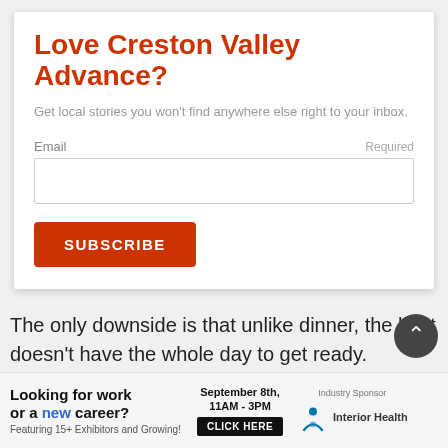Love Creston Valley Advance?
Get local stories you won't find anywhere else right to your inbox.
Email  Required
The only downside is that unlike dinner, the host doesn't have the whole day to get ready. However, as a long-time brunch enthusiast and well-practised brunch provider,
[Figure (infographic): Advertisement banner: Looking for work or a new career? September 8th, 11AM-3PM. Featuring 15+ Exhibitors and Growing! CLICK HERE. Industry Sponsor Interior Health logo.]